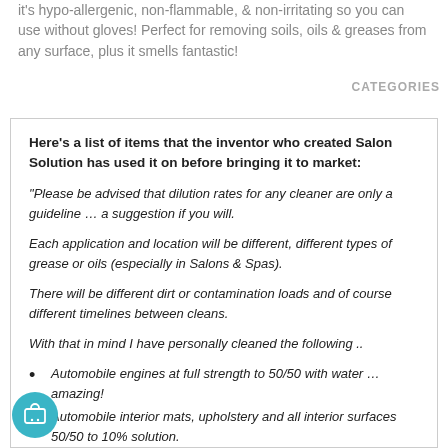it's hypo-allergenic, non-flammable, & non-irritating so you can use without gloves! Perfect for removing soils, oils & greases from any surface, plus it smells fantastic!
CATEGORIES
Here's a list of items that the inventor who created Salon Solution has used it on before bringing it to market:
"Please be advised that dilution rates for any cleaner are only a guideline … a suggestion if you will.
Each application and location will be different, different types of grease or oils (especially in Salons & Spas).
There will be different dirt or contamination loads and of course different timelines between cleans.
With that in mind I have personally cleaned the following ..
Automobile engines at full strength to 50/50 with water … amazing!
Automobile interior mats, upholstery and all interior surfaces 50/50 to 10% solution.
Automobile exterior, rims, tires at a 50/50 mix and about 50ml per 4l of water to wash the entire exterior
Carpet cleaning … full strength for stains and minimal